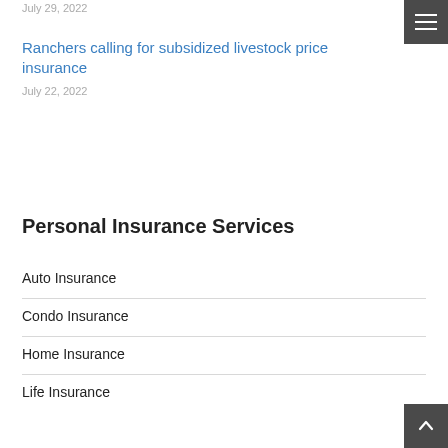July 29, 2022
Ranchers calling for subsidized livestock price insurance
July 22, 2022
Personal Insurance Services
Auto Insurance
Condo Insurance
Home Insurance
Life Insurance